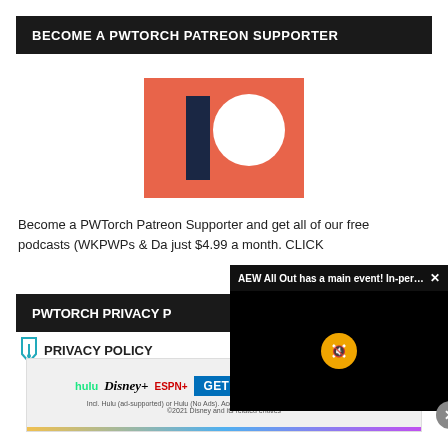BECOME A PWTORCH PATREON SUPPORTER
[Figure (logo): Patreon logo: orange/salmon rectangle with dark blue vertical bar and white circle]
Become a PWTorch Patreon Supporter and get all of our free podcasts (WKPWPs & Da just $4.99 a month. CLICK
PWTORCH PRIVACY P
PRIVACY POLICY
[Figure (screenshot): Video popup overlay: 'AEW All Out has a main event! In-person...' with mute button and close X]
[Figure (screenshot): Disney Bundle advertisement: hulu, Disney+, ESPN+ logos with 'GET THE DISNEY BUNDLE' CTA and fine print]